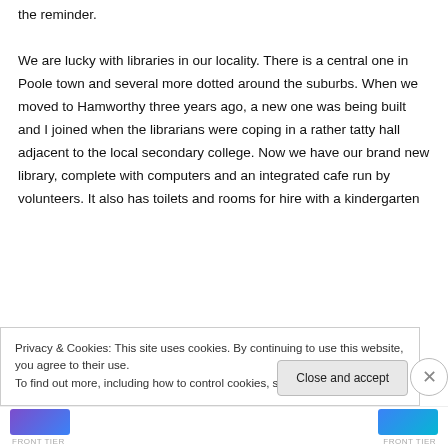the reminder. We are lucky with libraries in our locality. There is a central one in Poole town and several more dotted around the suburbs. When we moved to Hamworthy three years ago, a new one was being built and I joined when the librarians were coping in a rather tatty hall adjacent to the local secondary college. Now we have our brand new library, complete with computers and an integrated cafe run by volunteers. It also has toilets and rooms for hire with a kindergarten
Privacy & Cookies: This site uses cookies. By continuing to use this website, you agree to their use. To find out more, including how to control cookies, see here: Cookie Policy
Close and accept